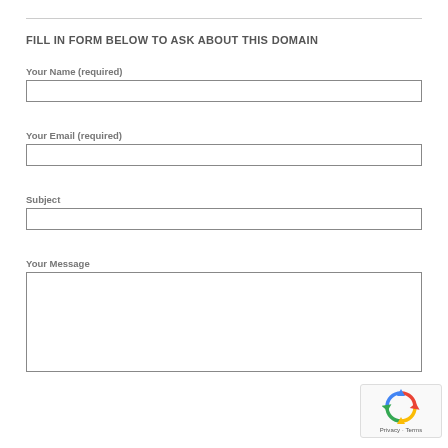FILL IN FORM BELOW TO ASK ABOUT THIS DOMAIN
Your Name (required)
Your Email (required)
Subject
Your Message